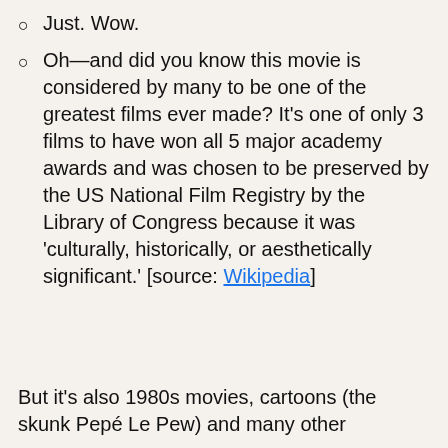Just. Wow.
Oh—and did you know this movie is considered by many to be one of the greatest films ever made? It's one of only 3 films to have won all 5 major academy awards and was chosen to be preserved by the US National Film Registry by the Library of Congress because it was 'culturally, historically, or aesthetically significant.' [source: Wikipedia]
But it's also 1980s movies, cartoons (the skunk Pepé Le Pew) and many other